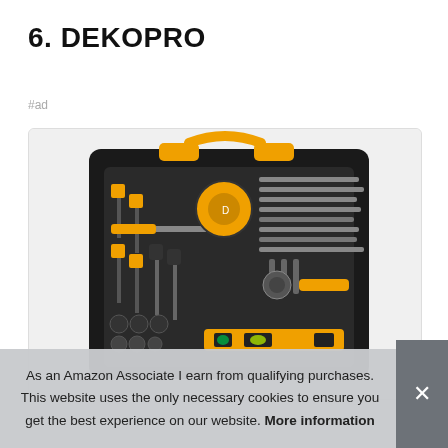6. DEKOPRO
#ad
[Figure (photo): DEKOPRO tool set in a black carrying case with yellow accents, showing screwdrivers, ratchet, level, tape measure, and other tools organized in foam inserts.]
As an Amazon Associate I earn from qualifying purchases. This website uses the only necessary cookies to ensure you get the best experience on our website. More information